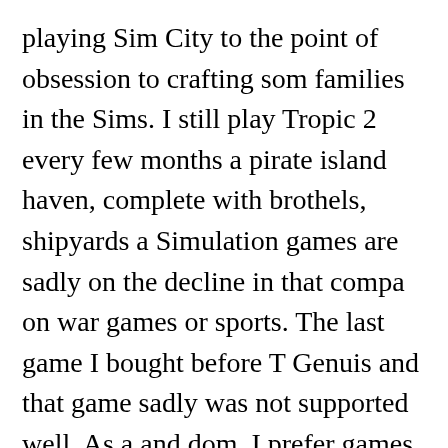playing Sim City to the point of obsession to crafting some families in the Sims. I still play Tropic 2 every few months a pirate island haven, complete with brothels, shipyards a Simulation games are sadly on the decline in that compa on war games or sports. The last game I bought before T Genuis and that game sadly was not supported well. As a and dom, I prefer games that let me be creative first and challenges second. I have created cities in the shapes of pirate ships after my favorite erotica writers and designed pleasure mansions than what I have seen on E.
The Movies so far has been fun. You run a movie studio i manage it to modern day. There is a shitload of actual mo included with the game that let you design, cast, shoot ar little future YouTube pieces. I haven't gotten to those tool more interested in seeing if I can get my studio ready for and design of 1970. It the remaining left for the S...